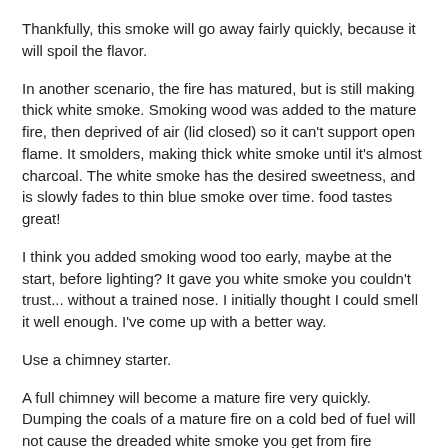Thankfully, this smoke will go away fairly quickly, because it will spoil the flavor.
In another scenario, the fire has matured, but is still making thick white smoke. Smoking wood was added to the mature fire, then deprived of air (lid closed) so it can't support open flame. It smolders, making thick white smoke until it's almost charcoal. The white smoke has the desired sweetness, and is slowly fades to thin blue smoke over time. food tastes great!
I think you added smoking wood too early, maybe at the start, before lighting? It gave you white smoke you couldn't trust... without a trained nose. I initially thought I could smell it well enough. I've come up with a better way.
Use a chimney starter.
A full chimney will become a mature fire very quickly. Dumping the coals of a mature fire on a cold bed of fuel will not cause the dreaded white smoke you get from fire starters... and you can add smoking wood to your heart's content. Food will cold smoke